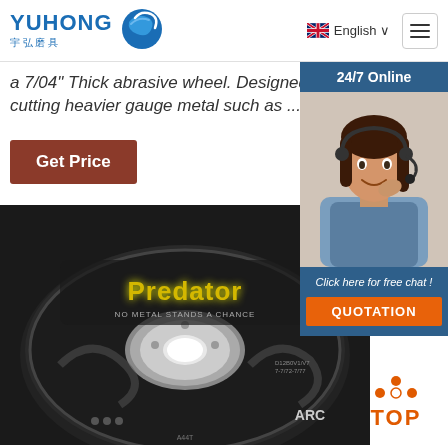[Figure (logo): Yuhong logo with Chinese characters 宇弘磨具 and blue wave graphic]
English ∨
[Figure (screenshot): Hamburger menu icon button]
a 7/04" Thick abrasive wheel. Designed for cutting heavier gauge metal such as ...
Get Price
[Figure (photo): Predator abrasive cutting disc with text 'No Metal Stands A Chance' and ARC branding]
[Figure (photo): Customer service agent woman with headset smiling, 24/7 Online chat box sidebar]
[Figure (illustration): TOP button with orange dots forming arrow and orange TOP text]